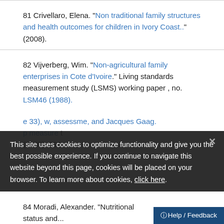81 Crivellaro, Elena. "Non traditional family structures and health outcomes for children in Ivory Coast.." (2008).
82 Vijverberg, Wim. "Non-agricultural family enterprises in Cote d'Ivoire." Living standards measurement study (LSMS) working paper , no. LSM46 (1988).
e 33), w, assessme, and Jacques Gaag. p measure t (1987): 291 -
This site uses cookies to optimize functionality and give you the best possible experience. If you continue to navigate this website beyond this page, cookies will be placed on your browser. To learn more about cookies, click here.
84 Moradi, Alexander. "Nutritional status and...
Help / Feedback